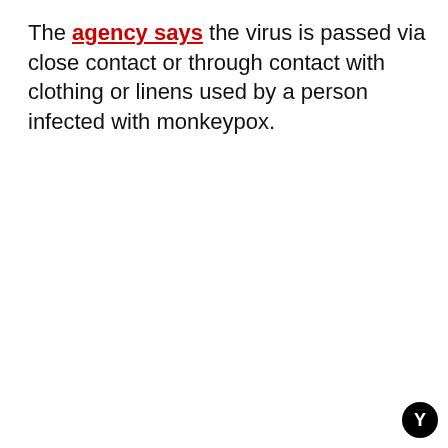The agency says the virus is passed via close contact or through contact with clothing or linens used by a person infected with monkeypox.
[Figure (logo): Small circular logo with a stylized 'Y' or similar mark in black and white, bottom-right corner]